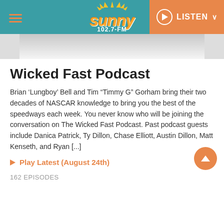Sunny 102.7-FM | LISTEN
[Figure (screenshot): Partial image/photo strip at top of page content area]
Wicked Fast Podcast
Brian ‘Lungboy’ Bell and Tim “Timmy G” Gorham bring their two decades of NASCAR knowledge to bring you the best of the speedways each week. You never know who will be joining the conversation on The Wicked Fast Podcast. Past podcast guests include Danica Patrick, Ty Dillon, Chase Elliott, Austin Dillon, Matt Kenseth, and Ryan [...]
Play Latest (August 24th)
162 EPISODES